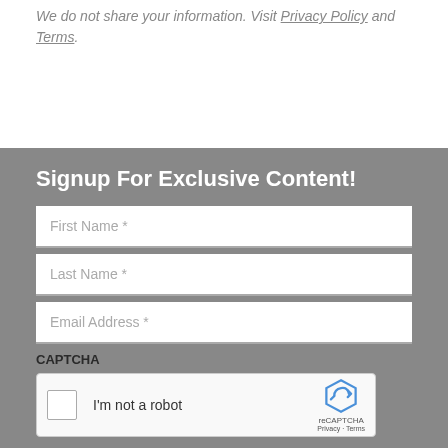We do not share your information. Visit Privacy Policy and Terms.
Signup For Exclusive Content!
First Name *
Last Name *
Email Address *
CAPTCHA
[Figure (screenshot): reCAPTCHA widget with checkbox labeled 'I'm not a robot' and reCAPTCHA logo with Privacy and Terms links]